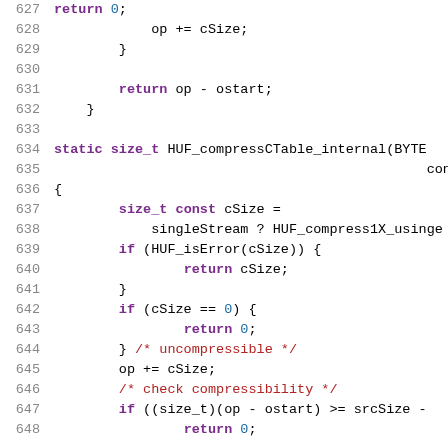[Figure (screenshot): Source code listing in a code editor showing C code lines 627-648, with syntax highlighting: keywords in purple/bold, literals in blue, comments in red, line numbers in gray.]